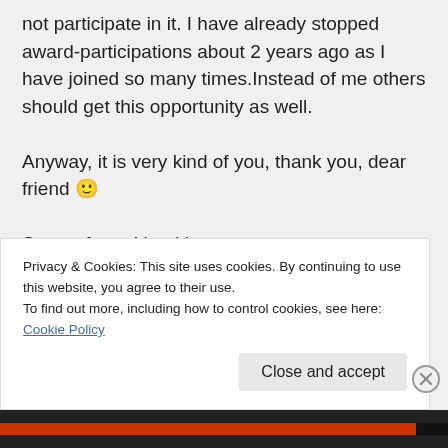not participate in it. I have already stopped award-participations about 2 years ago as I have joined so many times.Instead of me others should get this opportunity as well.

Anyway, it is very kind of you, thank you, dear friend 🙂

Stay safe and healthy
Didi
★ Like
Privacy & Cookies: This site uses cookies. By continuing to use this website, you agree to their use.
To find out more, including how to control cookies, see here: Cookie Policy
Close and accept